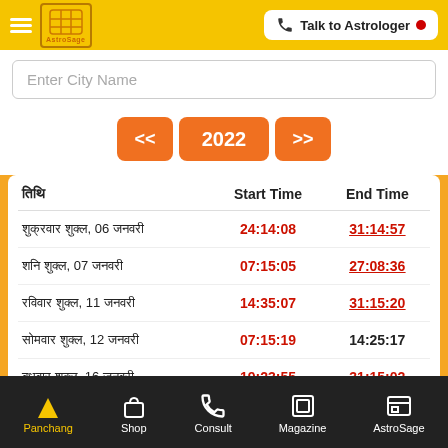AstroSage — Talk to Astrologer
Enter City Name
<<  2022  >>
| तिथि | Start Time | End Time |
| --- | --- | --- |
| शुक्रवार शुक्ल, 06 जनवरी | 24:14:08 | 31:14:57 |
| शनि शुक्ल, 07 जनवरी | 07:15:05 | 27:08:36 |
| रविवार शुक्ल, 11 जनवरी | 14:35:07 | 31:15:20 |
| सोमवार शुक्ल, 12 जनवरी | 07:15:19 | 14:25:17 |
| बुधवार शुक्ल, 16 जनवरी | 19:23:55 | 31:15:02 |
Panchang  Shop  Consult  Magazine  AstroSage